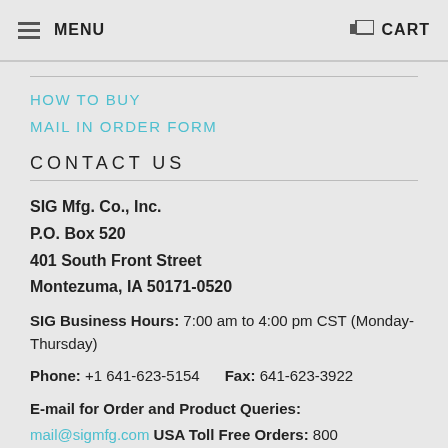MENU CART
HOW TO BUY
MAIL IN ORDER FORM
CONTACT US
SIG Mfg. Co., Inc.
P.O. Box 520
401 South Front Street
Montezuma, IA 50171-0520
SIG Business Hours: 7:00 am to 4:00 pm CST (Monday-Thursday)
Phone: +1 641-623-5154    Fax: 641-623-3922
E-mail for Order and Product Queries:
mail@sigmfg.com   USA Toll Free Orders: 800